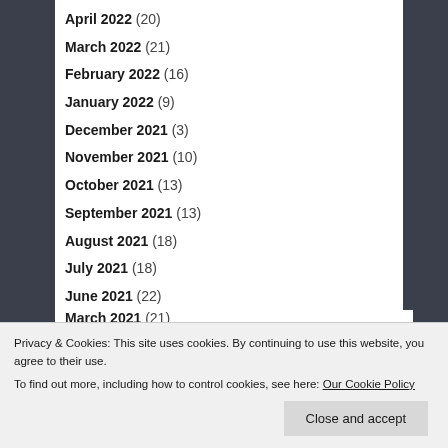April 2022 (20)
March 2022 (21)
February 2022 (16)
January 2022 (9)
December 2021 (3)
November 2021 (10)
October 2021 (13)
September 2021 (13)
August 2021 (18)
July 2021 (18)
June 2021 (22)
May 2021 (18)
April 2021 (20)
September 2020 (22)
Privacy & Cookies: This site uses cookies. By continuing to use this website, you agree to their use.
To find out more, including how to control cookies, see here: Our Cookie Policy